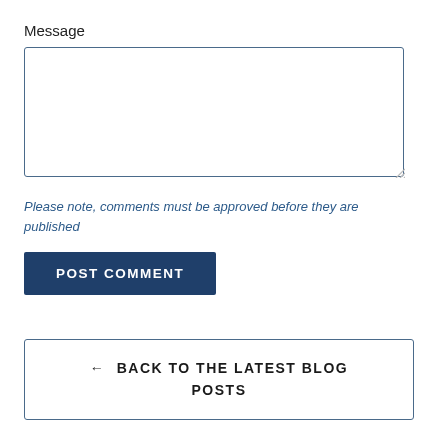Message
[Figure (other): Empty text area input box with resize handle]
Please note, comments must be approved before they are published
POST COMMENT
← BACK TO THE LATEST BLOG POSTS